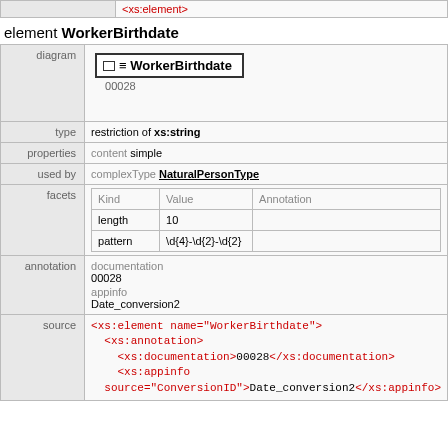|  |  |
| --- | --- |
|  | <xs:element> |
element WorkerBirthdate
| diagram | type | properties | used by | facets | annotation | source |
| --- | --- | --- | --- | --- | --- | --- |
| diagram | WorkerBirthdate / 00028 |
| type | restriction of xs:string |
| properties | content simple |
| used by | complexType NaturalPersonType |
| facets | Kind Value Annotation / length 10 / pattern \d{4}-\d{2}-\d{2} |
| annotation | documentation / 00028 / appinfo / Date_conversion2 |
| source | <xs:element name="WorkerBirthdate"> <xs:annotation> <xs:documentation>00028</xs:documentation> <xs:appinfo source="ConversionID">Date_conversion2</xs:appinfo> |